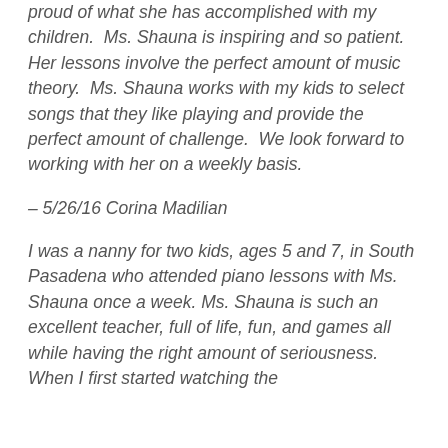proud of what she has accomplished with my children.  Ms. Shauna is inspiring and so patient.  Her lessons involve the perfect amount of music theory.  Ms. Shauna works with my kids to select songs that they like playing and provide the perfect amount of challenge.  We look forward to working with her on a weekly basis.
– 5/26/16 Corina Madilian
I was a nanny for two kids, ages 5 and 7, in South Pasadena who attended piano lessons with Ms. Shauna once a week. Ms. Shauna is such an excellent teacher, full of life, fun, and games all while having the right amount of seriousness. When I first started watching the